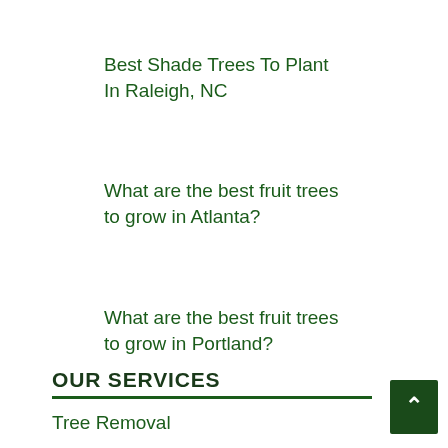Best Shade Trees To Plant In Raleigh, NC
What are the best fruit trees to grow in Atlanta?
What are the best fruit trees to grow in Portland?
OUR SERVICES
Tree Removal